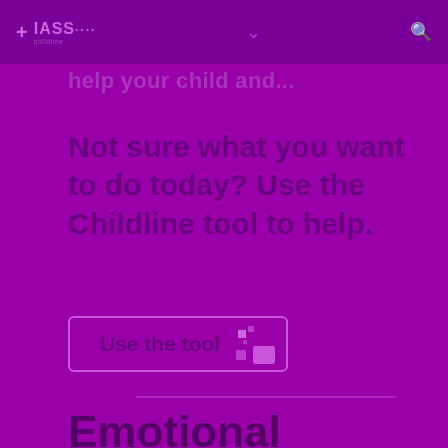IASS (logo navigation bar)
help your child and...
Not sure what you want to do today? Use the Childline tool to help.
[Figure (screenshot): Use the tool button with decorative squares icon]
Emotional